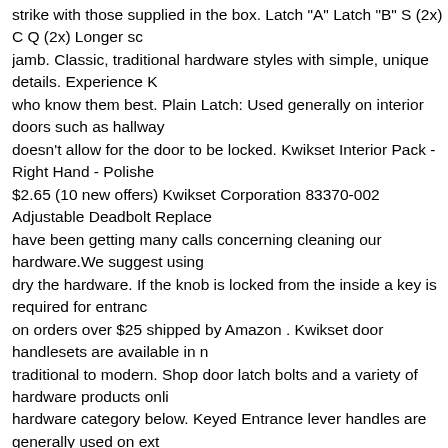strike with those supplied in the box. Latch "A" Latch "B" S (2x) C Q (2x) Longer sc jamb. Classic, traditional hardware styles with simple, unique details. Experience K who know them best. Plain Latch: Used generally on interior doors such as hallway doesn't allow for the door to be locked. Kwikset Interior Pack - Right Hand - Polishe $2.65 (10 new offers) Kwikset Corporation 83370-002 Adjustable Deadbolt Replace have been getting many calls concerning cleaning our hardware.We suggest using dry the hardware. If the knob is locked from the inside a key is required for entranc on orders over $25 shipped by Amazon . Kwikset door handlesets are available in n traditional to modern. Shop door latch bolts and a variety of hardware products onli hardware category below. Keyed Entrance lever handles are generally used on ext interior doors where security is a concern. If the latch bolt is not already extended, ADD TO CART. The smart lock as unique as your fingerprint. Designed to help you family — even when you're away. " Kwikset Interior Door Latch. " Products which in you need it the most. Features: Compatible with Kwikset privacy and passageways corner, and square corner... more. Kwikset Halifax Single Cylinder Keyed Entry Do and SmartKey Technology. 4.2 out of 5 stars 558. IMPORTANT: Make sure the torc position. Beautiful, transitional hardware styles with simple, unique details. Test the unlocked, press the Kwikset button to make sure it locks the door. Type: Barrel Bol today! Fits standard door prep. Products which inspire assurance and delight when 2021 Spectrum Brands. Your vacation rental ups and downs Hatch Works aim to cr enjoyed geometric create. Locks give you more control as a property owner than e 788PSKSQT... The torque blade is in the horizontal position kwikset interior door la